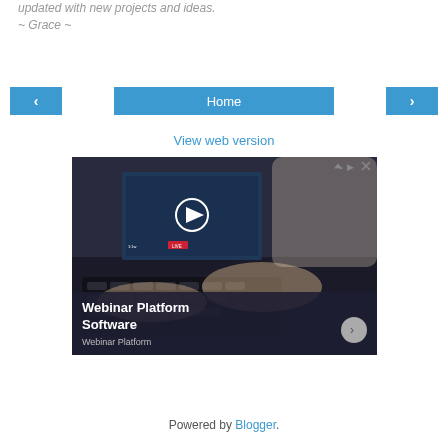updated with new projects and ideas.
~ Grace ~
< | Home | >
View web version
[Figure (photo): Advertisement image showing a person typing on a laptop with a video player overlay. Text reads: 'Webinar Platform Software' with subtitle 'Webinar Platform'. Has a play button icon and LIVE badge on the screen overlay.]
Powered by Blogger.